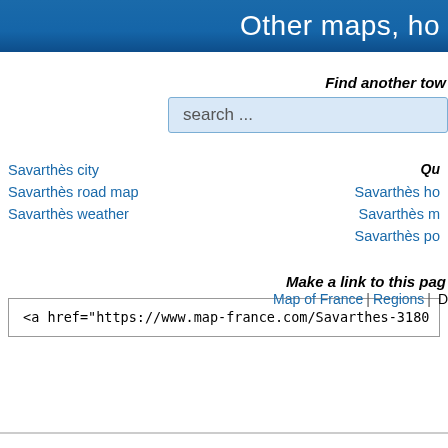Other maps, ho
Find another tow
search ...
Qu
Savarthès city
Savarthès road map
Savarthès weather
Savarthès ho
Savarthès m
Savarthès po
Make a link to this pag
<a href="https://www.map-france.com/Savarthes-3180
Map of France | Regions | D